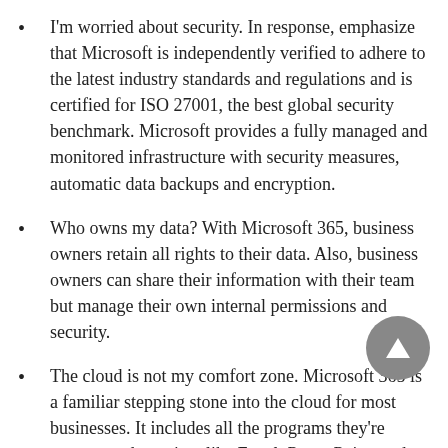I'm worried about security. In response, emphasize that Microsoft is independently verified to adhere to the latest industry standards and regulations and is certified for ISO 27001, the best global security benchmark. Microsoft provides a fully managed and monitored infrastructure with security measures, automatic data backups and encryption.
Who owns my data? With Microsoft 365, business owners retain all rights to their data. Also, business owners can share their information with their team but manage their own internal permissions and security.
The cloud is not my comfort zone. Microsoft 365 is a familiar stepping stone into the cloud for most businesses. It includes all the programs they're accustomed to using, like Excel, PowerPoint, and Word, so there is little to no training or relearning required.
It's just Word online, isn't it? Microsoft 365 is much more than just a cloud-based version of Word. It provides business class email, calendars, and online conferencing for...